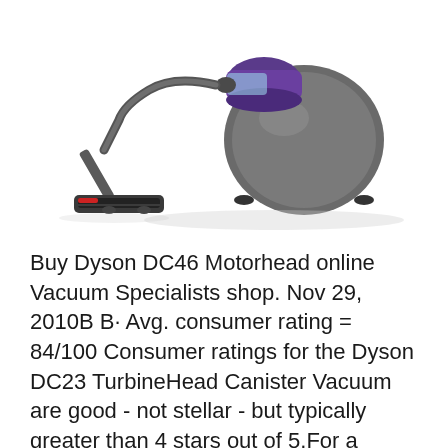[Figure (photo): A Dyson canister vacuum cleaner with purple and silver/grey body, ball design, hose and cleaning head attachment, shown on white background with slight shadow reflection.]
Buy Dyson DC46 Motorhead online Vacuum Specialists shop. Nov 29, 2010B B· Avg. consumer rating = 84/100 Consumer ratings for the Dyson DC23 TurbineHead Canister Vacuum are good - not stellar - but typically greater than 4 stars out of 5.For a Dyson it is not too pricey (depending on where you purchase) and it is said to have strong suction, work well on bare floors & rugs, and to be aesthetically pleasing (a lot of folks mention this)., Canister vacuum